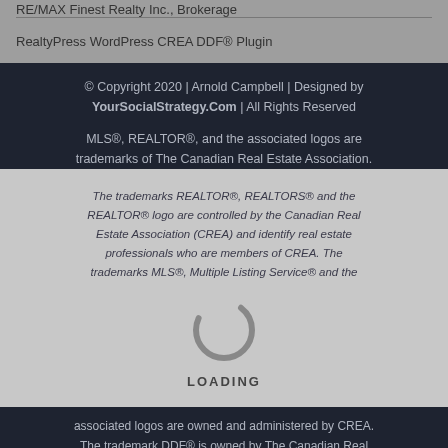RE/MAX Finest Realty Inc., Brokerage
RealtyPress WordPress CREA DDF® Plugin
© Copyright 2020 | Arnold Campbell | Designed by YourSocialStrategy.Com | All Rights Reserved
MLS®, REALTOR®, and the associated logos are trademarks of The Canadian Real Estate Association. The trademarks REALTOR®, REALTORS® and the REALTOR® logo are controlled by the Canadian Real Estate Association (CREA) and identify real estate professionals who are members of CREA. The trademarks MLS®, Multiple Listing Service® and the associated logos are owned and administered by CREA. The trademark DDF® is owned by The Canadian Real Estate Association (CREA) and identifies CREA's Data Distribution Facility (DDF®)
[Figure (other): Loading spinner animation with LOADING text]